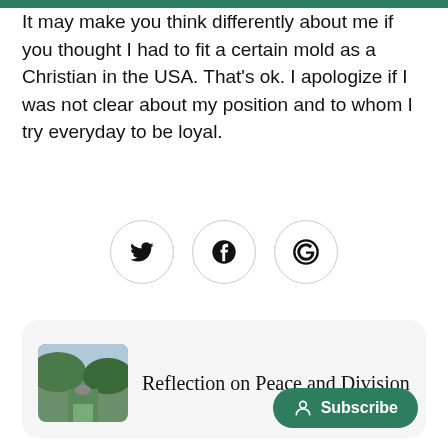It may make you think differently about me if you thought I had to fit a certain mold as a Christian in the USA. That's ok. I apologize if I was not clear about my position and to whom I try everyday to be loyal.
[Figure (infographic): Three social media share icons in circles: Twitter bird, Facebook f, and a G+ style icon]
← Newer post
[Figure (photo): Green valley landscape with hills]
Reflection on Peace and Division
Subscribe